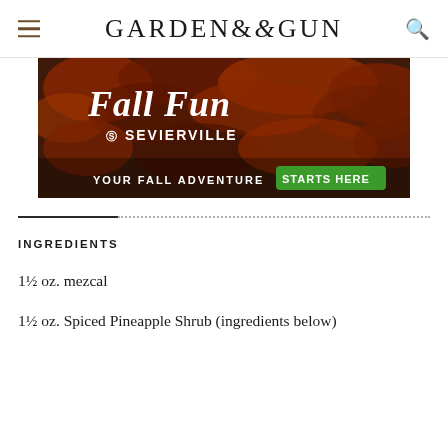GARDEN & GUN
[Figure (illustration): Advertisement banner for Sevierville with autumn foliage background. Text reads: 'Fall Fun IN SEVIERVILLE YOUR FALL ADVENTURE STARTS HERE']
INGREDIENTS
1½ oz. mezcal
1½ oz. Spiced Pineapple Shrub (ingredients below)